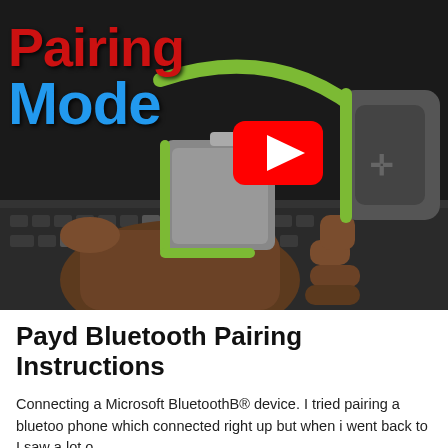[Figure (screenshot): YouTube video thumbnail showing JLab Bluetooth headphones being held in hand with text 'Pairing Mode' overlaid. A red YouTube play button is visible in the center-right area. The top bar shows 'How to Pair JLab Bluetooth Headphones | JLab' text.]
Payd Bluetooth Pairing Instructions
Connecting a Microsoft BluetoothB® device. I tried pairing a bluetooth phone which connected right up but when i went back to I saw a lot o